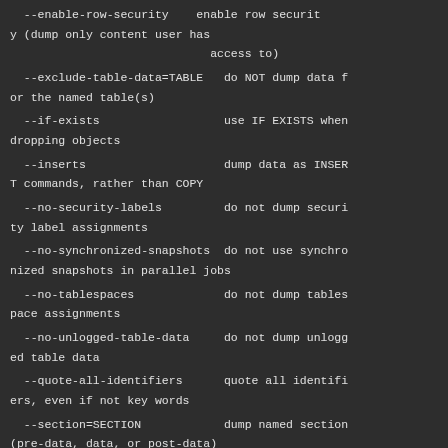--enable-row-security    enable row security (dump only content user has access to)
--exclude-table-data=TABLE    do NOT dump data for the named table(s)
--if-exists    use IF EXISTS when dropping objects
--inserts    dump data as INSERT commands, rather than COPY
--no-security-labels    do not dump security label assignments
--no-synchronized-snapshots    do not use synchronized snapshots in parallel jobs
--no-tablespaces    do not dump tablespace assignments
--no-unlogged-table-data    do not dump unlogged table data
--quote-all-identifiers    quote all identifiers, even if not key words
--section=SECTION    dump named section (pre-data, data, or post-data)
--serializable-deferrable    wait until the dum